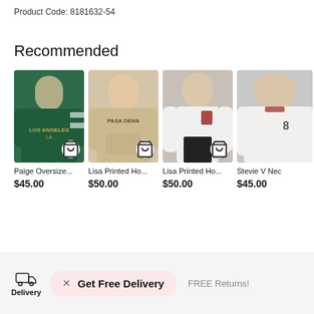Product Code: 8181632-54
Recommended
[Figure (photo): Paige Oversize hoodie product photo - green hoodie on model]
Paige Oversize...
$45.00
[Figure (photo): Lisa Printed Hoodie product photo - beige hoodie on model]
Lisa Printed Ho...
$50.00
[Figure (photo): Lisa Printed Hoodie product photo - white hoodie on model with black pants]
Lisa Printed Ho...
$50.00
[Figure (photo): Stevie V Nec product photo - white sweatshirt on model]
Stevie V Nec
$45.00
Get Free Delivery
Delivery   FREE Returns!